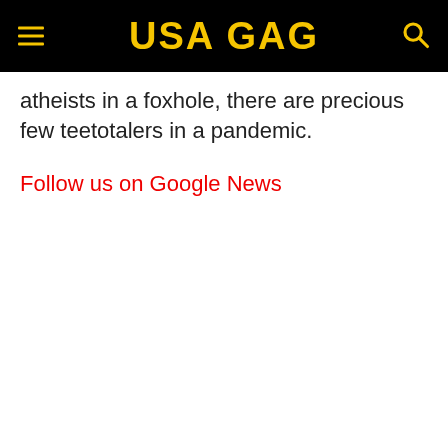USA GAG
atheists in a foxhole, there are precious few teetotalers in a pandemic.
Follow us on Google News